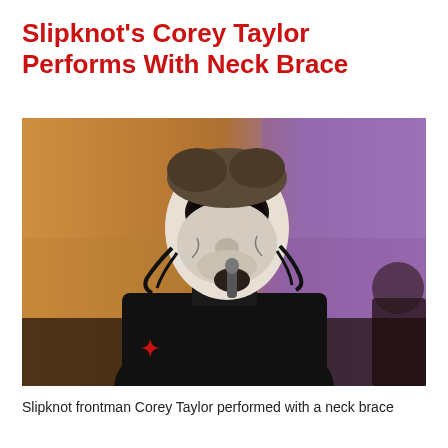Slipknot's Corey Taylor Performs With Neck Brace
[Figure (photo): Corey Taylor of Slipknot performing on stage wearing a white and black mask, holding a microphone, dressed in black clothing with a red Slipknot logo on the sleeve. Background is a mix of orange/yellow and purple stage lighting.]
Slipknot frontman Corey Taylor performed with a neck brace